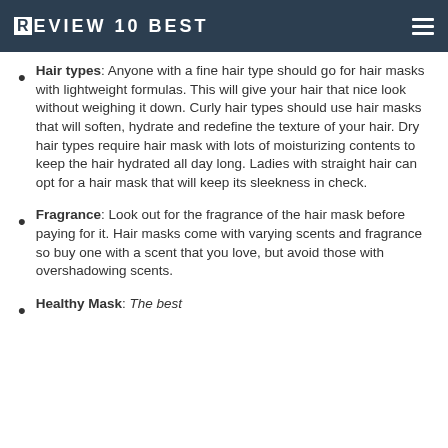REVIEW10BEST
Hair types: Anyone with a fine hair type should go for hair masks with lightweight formulas. This will give your hair that nice look without weighing it down. Curly hair types should use hair masks that will soften, hydrate and redefine the texture of your hair. Dry hair types require hair mask with lots of moisturizing contents to keep the hair hydrated all day long. Ladies with straight hair can opt for a hair mask that will keep its sleekness in check.
Fragrance: Look out for the fragrance of the hair mask before paying for it. Hair masks come with varying scents and fragrance so buy one with a scent that you love, but avoid those with overshadowing scents.